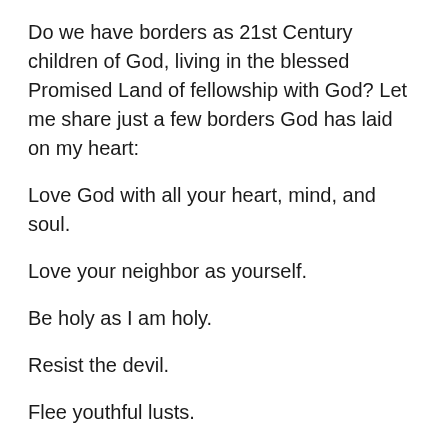Do we have borders as 21st Century children of God, living in the blessed Promised Land of fellowship with God? Let me share just a few borders God has laid on my heart:
Love God with all your heart, mind, and soul.
Love your neighbor as yourself.
Be holy as I am holy.
Resist the devil.
Flee youthful lusts.
Pray without ceasing and in everything give thanks.
Preach the Gospel.
Confess sin.